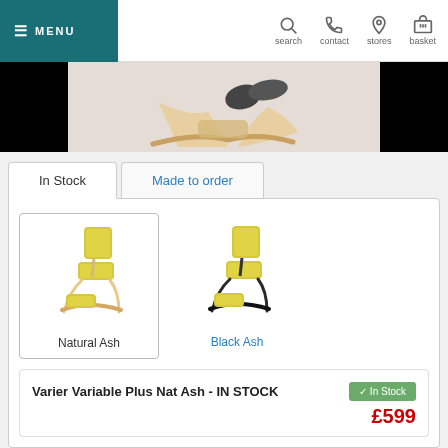≡ MENU | search | contact | stores | basket
[Figure (photo): Partial hero banner showing a person sitting on a wooden kneeling chair, cropped with black bars on left and right sides.]
In Stock
Made to order
[Figure (photo): Varier Variable Plus kneeling chair with yellow upholstery and natural ash wooden frame.]
Natural Ash
[Figure (photo): Varier Variable Plus kneeling chair with yellow upholstery and black ash frame.]
Black Ash
Varier Variable Plus Nat Ash - IN STOCK
✔ In Stock
£599